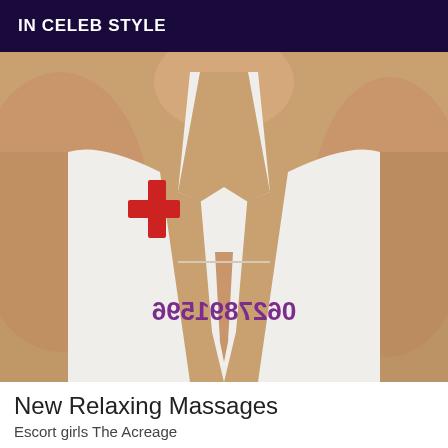IN CELEB STYLE
[Figure (photo): A person wearing a low-cut white nurse costume with a red cross symbol on the chest. A phone number in mirrored/flipped purple text is visible on the garment.]
New Relaxing Massages
Escort girls The Acreage